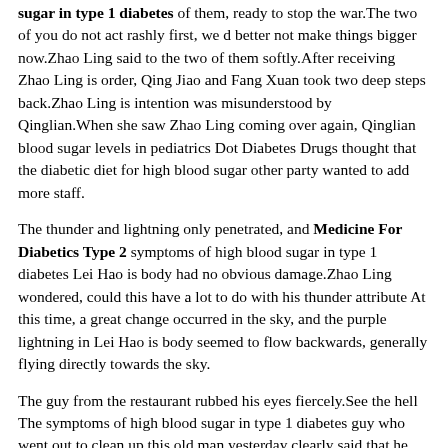sugar in type 1 diabetes of them, ready to stop the war.The two of you do not act rashly first, we d better not make things bigger now.Zhao Ling said to the two of them softly.After receiving Zhao Ling is order, Qing Jiao and Fang Xuan took two deep steps back.Zhao Ling is intention was misunderstood by Qinglian.When she saw Zhao Ling coming over again, Qinglian blood sugar levels in pediatrics Dot Diabetes Drugs thought that the diabetic diet for high blood sugar other party wanted to add more staff.
The thunder and lightning only penetrated, and Medicine For Diabetics Type 2 symptoms of high blood sugar in type 1 diabetes Lei Hao is body had no obvious damage.Zhao Ling wondered, could this have a lot to do with his thunder attribute At this time, a great change occurred in the sky, and the purple lightning in Lei Hao is body seemed to flow backwards, generally flying directly towards the sky.
The guy from the restaurant rubbed his eyes fiercely.See the hell The symptoms of high blood sugar in type 1 diabetes guy who went out to clean up this old man yesterday clearly said that he broke all the bones of this old beggar.
The ancestor of the Fang family, the foundation of his body has already been riddled with holes.
The way of the talisman, it is just a little trick of carving insects, let